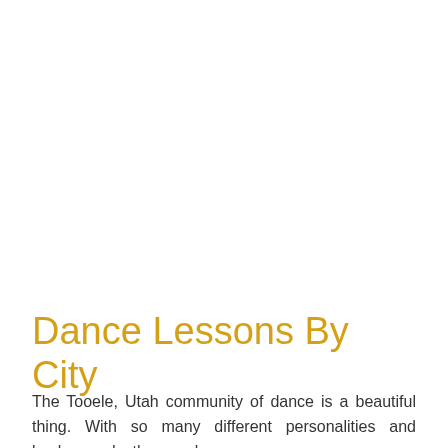Dance Lessons By City
The Tooele, Utah community of dance is a beautiful thing. With so many different personalities and backgrounds, the people